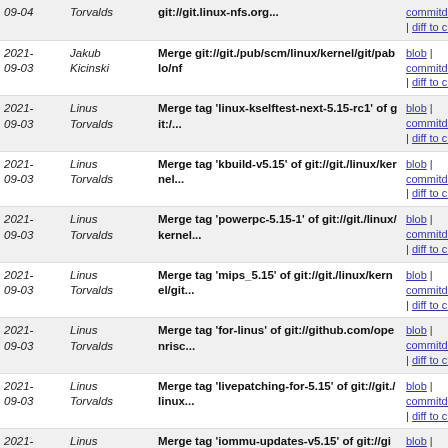| Date | Author | Commit Message | Links |
| --- | --- | --- | --- |
| 2021-
09-04 | Torvalds | git://git.linux-nfs.org... | blob | commitdiff | diff to current |
| 2021-
09-03 | Jakub Kicinski | Merge git://git./pub/scm/linux/kernel/git/pablo/nf | blob | commitdiff | diff to current |
| 2021-
09-03 | Linus Torvalds | Merge tag 'linux-kselftest-next-5.15-rc1' of git:/... | blob | commitdiff | diff to current |
| 2021-
09-03 | Linus Torvalds | Merge tag 'kbuild-v5.15' of git://git./linux/kernel... | blob | commitdiff | diff to current |
| 2021-
09-03 | Linus Torvalds | Merge tag 'powerpc-5.15-1' of git://git./linux/kernel... | blob | commitdiff | diff to current |
| 2021-
09-03 | Linus Torvalds | Merge tag 'mips_5.15' of git://git./linux/kernel/git... | blob | commitdiff | diff to current |
| 2021-
09-03 | Linus Torvalds | Merge tag 'for-linus' of git://github.com/openrisc... | blob | commitdiff | diff to current |
| 2021-
09-03 | Linus Torvalds | Merge tag 'livepatching-for-5.15' of git://git./linux... | blob | commitdiff | diff to current |
| 2021-
09-03 | Linus Torvalds | Merge tag 'iommu-updates-v5.15' of git://git./linux... | blob | commitdiff | diff to current |
| 2021-
09-03 | Linus Torvalds | Merge branch 'stable/for-linus-5.15' of git://git.... | blob | commitdiff | diff to current |
| 2021-
09-03 | Linus Torvalds | Merge branch 'akpm' (patches from Andrew) | blob | commitdiff |